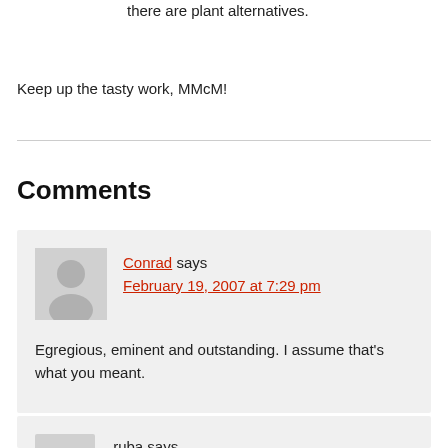there are plant alternatives.
Keep up the tasty work, MMcM!
Comments
Conrad says
February 19, 2007 at 7:29 pm
Egregious, eminent and outstanding. I assume that's what you meant.
ruba says